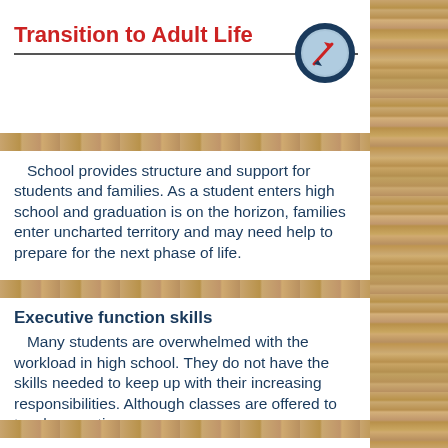Transition to Adult Life
School provides structure and support for students and families. As a student enters high school and graduation is on the horizon, families enter uncharted territory and may need help to prepare for the next phase of life.
Executive function skills
Many students are overwhelmed with the workload in high school. They do not have the skills needed to keep up with their increasing responsibilities. Although classes are offered to teach executive